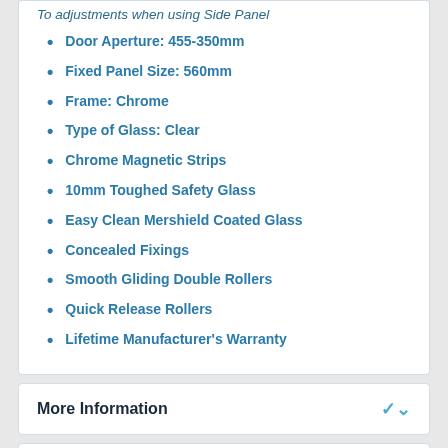To adjustments when using Side Panel
Door Aperture: 455-350mm
Fixed Panel Size: 560mm
Frame: Chrome
Type of Glass: Clear
Chrome Magnetic Strips
10mm Toughed Safety Glass
Easy Clean Mershield Coated Glass
Concealed Fixings
Smooth Gliding Double Rollers
Quick Release Rollers
Lifetime Manufacturer's Warranty
More Information